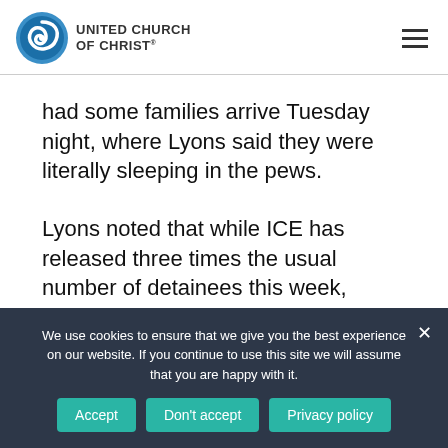UNITED CHURCH OF CHRIST
had some families arrive Tuesday night, where Lyons said they were literally sleeping in the pews.
Lyons noted that while ICE has released three times the usual number of detainees this week,
We use cookies to ensure that we give you the best experience on our website. If you continue to use this site we will assume that you are happy with it.